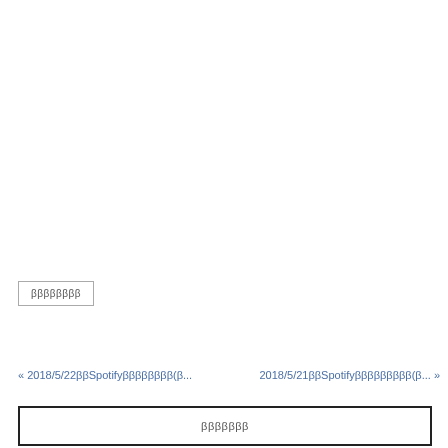ββββββββ
« 2018/5/22ββSpotifyββββββββ(β...
2018/5/21ββSpotifyβββββββββ(β... »
βββββββ